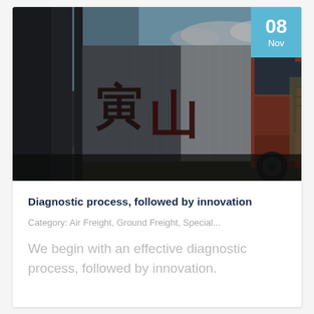[Figure (photo): A dark-toned photograph of a large commercial truck with Japanese characters on the side panel, an orange/copper cab visible on the right, parked at what appears to be a freight or logistics facility. A light blue date badge with '08 Nov' is overlaid in the top-right corner.]
Diagnostic process, followed by innovation
Category: Air Freight, Ground Freight, Special...
We begin with an effective diagnostic process, followed by innovation.